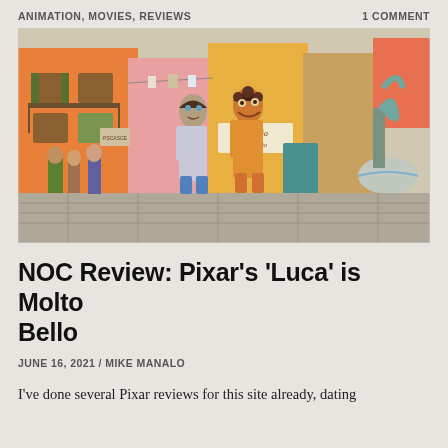ANIMATION, MOVIES, REVIEWS    1 COMMENT
[Figure (photo): Still from Pixar's Luca animated film showing two animated boy characters standing in a colorful Italian piazza with orange and red buildings, green shutters, and a sea-creature fountain in the background.]
NOC Review: Pixar's 'Luca' is Molto Bello
JUNE 16, 2021 / MIKE MANALO
I've done several Pixar reviews for this site already, dating